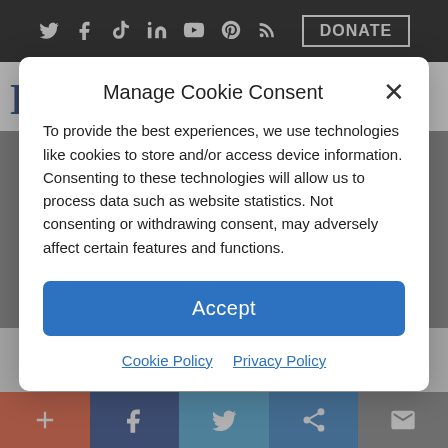Liberty Nation News — top navigation bar with social icons and DONATE button
Liberty Nation News
Manage Cookie Consent
To provide the best experiences, we use technologies like cookies to store and/or access device information. Consenting to these technologies will allow us to process data such as website statistics. Not consenting or withdrawing consent, may adversely affect certain features and functions.
Accept
Cookie Policy   Privacy Policy
child bearing age?
By: Teresa J. Read, CPA |  June 22, 2018 · 11:00 am |
Social share bar: +, Facebook, Twitter, Share, Mail